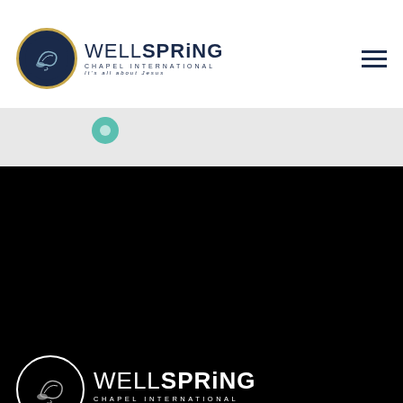[Figure (logo): Wellspring Chapel International logo with circular bird emblem and text, gold border circle on dark blue background, top navigation header with hamburger menu]
[Figure (map): Partial map view showing a teal/green location pin marker on a light gray map background]
[Figure (logo): Wellspring Chapel International logo in white on black background, circular bird emblem with white border]
Contact
Worship with us at 1601 Schrock Road Columbus, OH